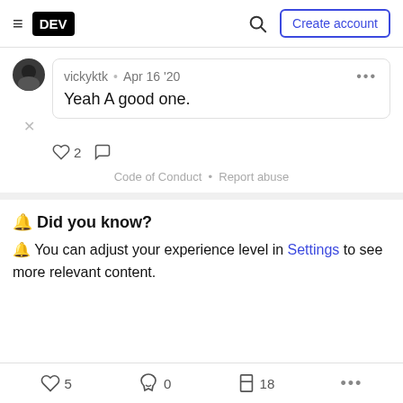DEV — Create account
vickyktk • Apr 16 '20
Yeah A good one.
♡ 2  ♡
Code of Conduct • Report abuse
🔔 Did you know?
🔔 You can adjust your experience level in Settings to see more relevant content.
♡ 5   🔥 0   🔖 18   ...